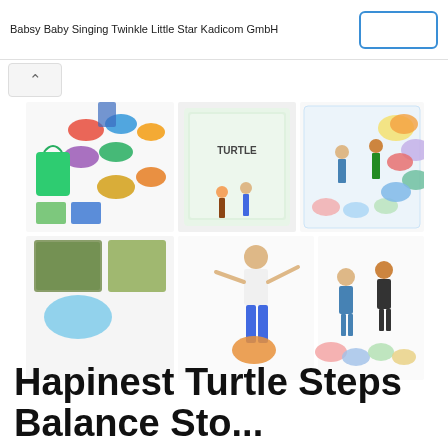Babsy Baby Singing Twinkle Little Star Kadicom GmbH
[Figure (photo): Product photos of Hapinest Turtle Steps Balance Stones set showing colorful stepping stones, packaging boxes, and children using the product]
Hapinest Turtle Steps Balance Sto...